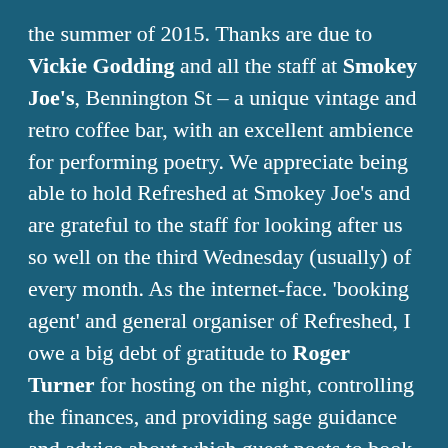the summer of 2015. Thanks are due to Vickie Godding and all the staff at Smokey Joe's, Bennington St – a unique vintage and retro coffee bar, with an excellent ambience for performing poetry. We appreciate being able to hold Refreshed at Smokey Joe's and are grateful to the staff for looking after us so well on the third Wednesday (usually) of every month. As the internet-face. 'booking agent' and general organiser of Refreshed, I owe a big debt of gratitude to Roger Turner for hosting on the night, controlling the finances, and providing sage guidance and advice about which guest poets to book. Also, a big thank you to everyone who has taken the mic during 2017, either as a guest poet (see list below) or at the open mic. I'm also grateful to Tony for the scores of photographs and video clips taken at these